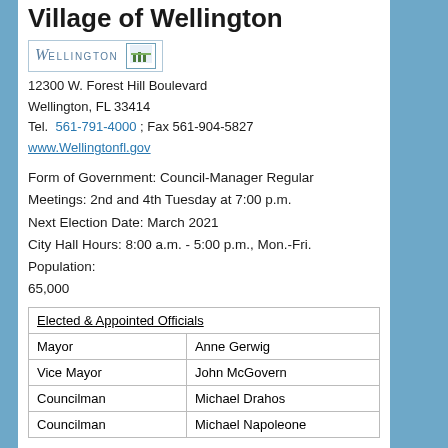Village of Wellington
[Figure (logo): Wellington village logo with horse silhouette and tree emblem]
12300 W. Forest Hill Boulevard
Wellington, FL 33414
Tel. 561-791-4000 ; Fax 561-904-5827
www.Wellingtonfl.gov
Form of Government: Council-Manager Regular Meetings: 2nd and 4th Tuesday at 7:00 p.m. Next Election Date: March 2021 City Hall Hours: 8:00 a.m. - 5:00 p.m., Mon.-Fri. Population: 65,000
| Elected & Appointed Officials |  |
| --- | --- |
| Mayor | Anne Gerwig |
| Vice Mayor | John McGovern |
| Councilman | Michael Drahos |
| Councilman | Michael Napoleone |